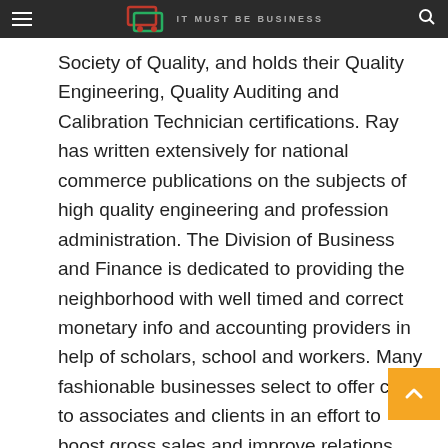IT MUST BE BUSINESS
Society of Quality, and holds their Quality Engineering, Quality Auditing and Calibration Technician certifications. Ray has written extensively for national commerce publications on the subjects of high quality engineering and profession administration. The Division of Business and Finance is dedicated to providing the neighborhood with well timed and correct monetary info and accounting providers in help of scholars, school and workers. Many fashionable businesses select to offer credit to associates and clients in an effort to boost gross sales and improve relations with business contacts. To leverage using credit effectively and legally, business house owners must first familiarize themselves with applicable legal guidelines.